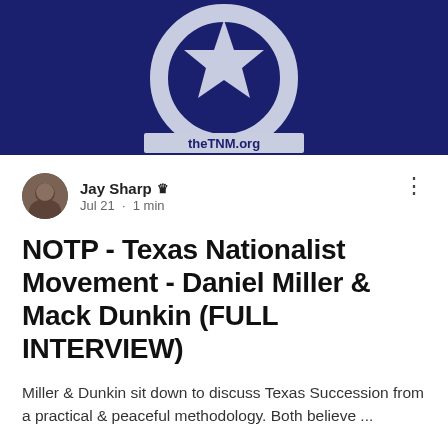[Figure (photo): Partial view of a logo on dark navy blue background with a star emblem and text 'theTNM.org']
Jay Sharp Admin
Jul 21 · 1 min
NOTP - Texas Nationalist Movement - Daniel Miller & Mack Dunkin (FULL INTERVIEW)
Miller & Dunkin sit down to discuss Texas Succession from a practical & peaceful methodology. Both believe ...
11  0
[Figure (photo): Bottom portion of a video thumbnail, black background]